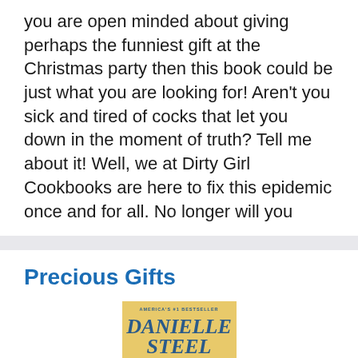you are open minded about giving perhaps the funniest gift at the Christmas party then this book could be just what you are looking for! Aren't you sick and tired of cocks that let you down in the moment of truth? Tell me about it! Well, we at Dirty Girl Cookbooks are here to fix this epidemic once and for all. No longer will you
Precious Gifts
[Figure (illustration): Book cover of 'Precious Gifts' by Danielle Steel. Yellow/gold background with blue butterfly wings visible at the bottom. Text reads 'AMERICA'S #1 BESTSELLER' at top, then 'DANIELLE STEEL' in large teal serif font.]